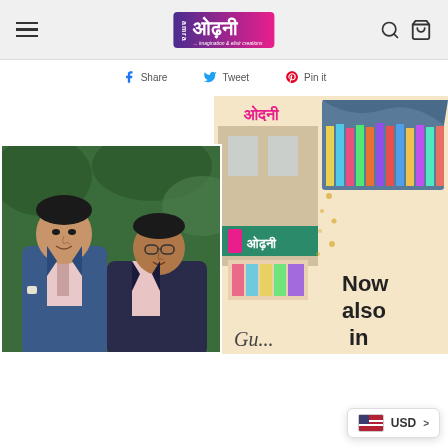Amra ओढ़नी — imagination & elixir creations (navigation header with hamburger menu, logo, search and cart icons)
Share  Tweet  Pin it
[Figure (photo): Two men in suits smiling, standing together in front of green background]
[Figure (photo): ओदनी store collage: store exterior with Amra ओढ़नी sign, interior with colorful sarees, text 'Now also in Gu...' (Gurugram)]
Now also in
USD >